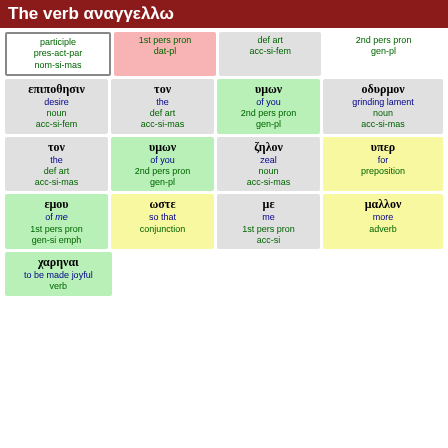The verb αναγγελλω
| participle pres-act-par nom-si-mas | 1st pers pron dat-pl | def art acc-si-fem | 2nd pers pron gen-pl |
| επιποθησιν desire noun acc-si-fem | τον the def art acc-si-mas | υμων of you 2nd pers pron gen-pl | οδυρμον grinding lament noun acc-si-mas |
| τον the def art acc-si-mas | υμων of you 2nd pers pron gen-pl | ζηλον zeal noun acc-si-mas | υπερ for preposition |
| εμου of me 1st pers pron gen-si emph | ωστε so that conjunction | με me 1st pers pron acc-si | μαλλον more adverb |
| χαρηναι to be made joyful verb |  |  |  |